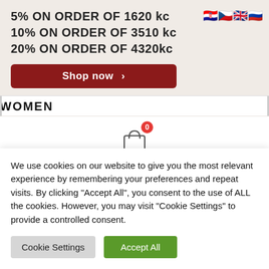5% ON ORDER OF 1620 kc
10% ON ORDER OF 3510 kc
20% ON ORDER OF 4320kc
[Figure (other): Four country flag emoji icons: Croatian, Czech, UK, Russian flags]
Shop now >
WOMEN
[Figure (other): Shopping bag cart icon with red badge showing 0]
Wishlist
We use cookies on our website to give you the most relevant experience by remembering your preferences and repeat visits. By clicking “Accept All”, you consent to the use of ALL the cookies. However, you may visit "Cookie Settings" to provide a controlled consent.
Cookie Settings
Accept All